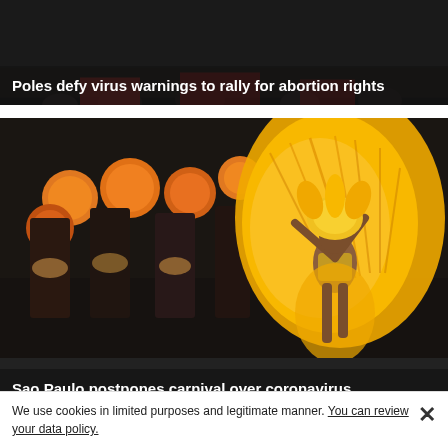[Figure (photo): News article card with dark overlay showing headline about Poles defying virus warnings to rally for abortion rights]
Poles defy virus warnings to rally for abortion rights
[Figure (photo): Sao Paulo carnival scene with performers in colorful feathered costumes, woman in gold and yellow feathered outfit in foreground, drummers in background]
Sao Paulo postpones carnival over coronavirus
We use cookies in limited purposes and legitimate manner. You can review your data policy.